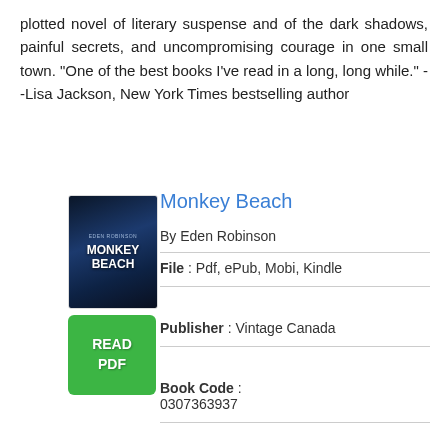plotted novel of literary suspense and of the dark shadows, painful secrets, and uncompromising courage in one small town. "One of the best books I've read in a long, long while." --Lisa Jackson, New York Times bestselling author
Monkey Beach
By Eden Robinson
[Figure (illustration): Book cover of Monkey Beach with dark blue tones]
[Figure (other): Green READ PDF button]
File : Pdf, ePub, Mobi, Kindle
Publisher : Vintage Canada
Book Code : 0307363937